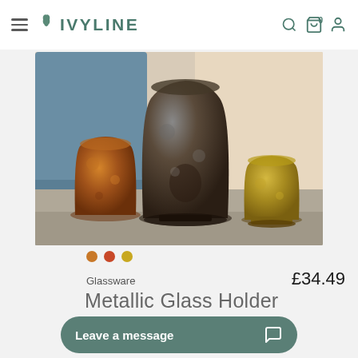IVYLINE
[Figure (photo): Three metallic glass holders in copper/brown, dark pewter, and gold/brass tones arranged on a table with a blue chair in the background.]
Glassware   £34.49
Metallic Glass Holder
Leave a message